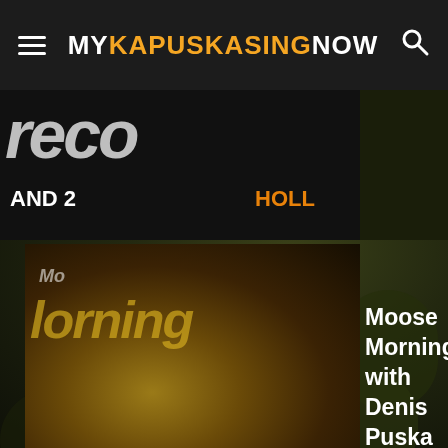MyKapuskasingNow
[Figure (screenshot): Website screenshot of MyKapuskasingNow showing navigation header with hamburger menu, logo, and search icon. Background shows partially visible article thumbnails with 'AND 2' and 'HOLL' text labels, and a main thumbnail for 'Moose Mornings with Denis Puska' article with dark foliage forest background.]
Moose Mornings with Denis Puska